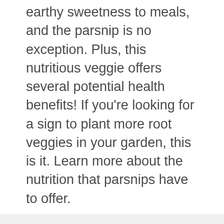earthy sweetness to meals, and the parsnip is no exception. Plus, this nutritious veggie offers several potential health benefits! If you're looking for a sign to plant more root veggies in your garden, this is it. Learn more about the nutrition that parsnips have to offer.
How to Plant and Grow Parsnips
[Figure (photo): Close-up photo of dark soil/earth, showing garden ground texture]